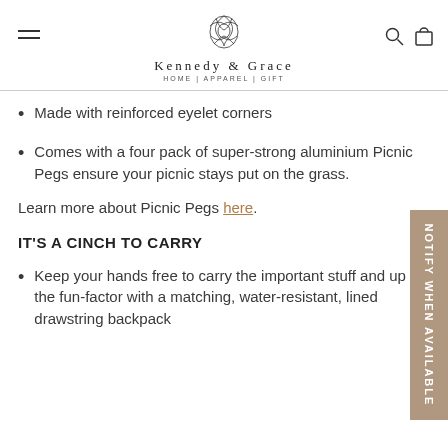Kennedy & Grace HOME | APPAREL | GIFT
Made with reinforced eyelet corners
Comes with a four pack of super-strong aluminium Picnic Pegs ensure your picnic stays put on the grass.
Learn more about Picnic Pegs here.
IT'S A CINCH TO CARRY
Keep your hands free to carry the important stuff and up the fun-factor with a matching, water-resistant, lined drawstring backpack